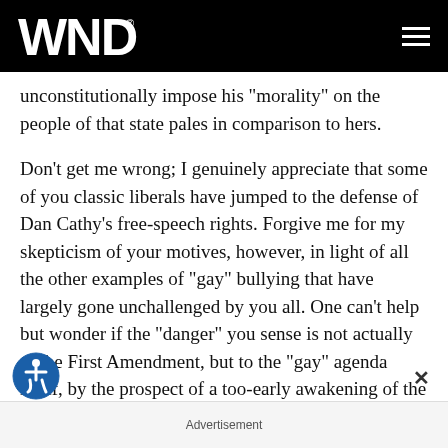WND
unconstitutionally impose his "morality" on the people of that state pales in comparison to hers.
Don't get me wrong; I genuinely appreciate that some of you classic liberals have jumped to the defense of Dan Cathy's free-speech rights. Forgive me for my skepticism of your motives, however, in light of all the other examples of "gay" bullying that have largely gone unchallenged by you all. One can't help but wonder if the "danger" you sense is not actually to the First Amendment, but to the "gay" agenda itself, by the prospect of a too-early awakening of the sleeping giant
Advertisement